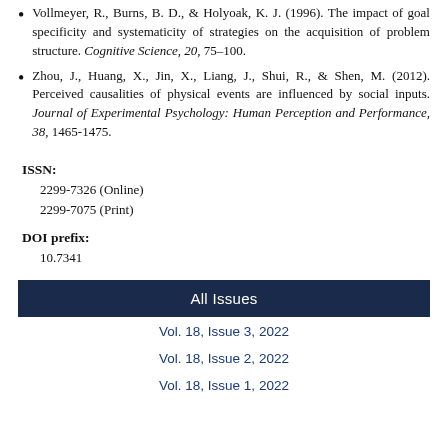Vollmeyer, R., Burns, B. D., & Holyoak, K. J. (1996). The impact of goal specificity and systematicity of strategies on the acquisition of problem structure. Cognitive Science, 20, 75–100.
Zhou, J., Huang, X., Jin, X., Liang, J., Shui, R., & Shen, M. (2012). Perceived causalities of physical events are influenced by social inputs. Journal of Experimental Psychology: Human Perception and Performance, 38, 1465-1475.
ISSN:
2299-7326 (Online)
2299-7075 (Print)
DOI prefix:
10.7341
All Issues
Vol. 18, Issue 3, 2022
Vol. 18, Issue 2, 2022
Vol. 18, Issue 1, 2022